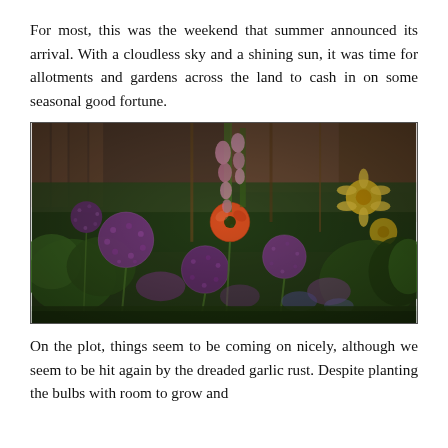For most, this was the weekend that summer announced its arrival. With a cloudless sky and a shining sun, it was time for allotments and gardens across the land to cash in on some seasonal good fortune.
[Figure (photo): A lush garden border in full summer bloom featuring large purple allium spherical flower heads, an orange poppy, pink foxgloves, yellow flowers, and dense green foliage, with a wooden fence in the background.]
On the plot, things seem to be coming on nicely, although we seem to be hit again by the dreaded garlic rust. Despite planting the bulbs with room to grow and